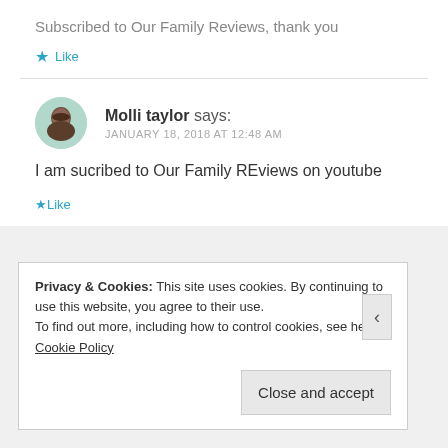Subscribed to Our Family Reviews, thank you
★ Like
Molli taylor says: JANUARY 18, 2018 AT 12:48 AM
I am sucribed to Our Family REviews on youtube
★ Like
Privacy & Cookies: This site uses cookies. By continuing to use this website, you agree to their use. To find out more, including how to control cookies, see here: Cookie Policy
Close and accept